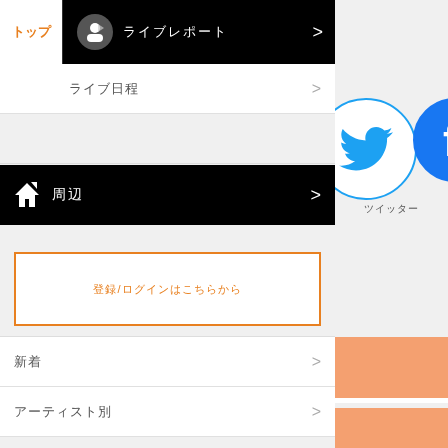トップ | ホーム | ライブレポート
ライブ日程
ホーム 周辺
登録/ログインはこちらから
新着
アーティスト別
LiveFans PUSH!
ライブレポート
セトリ情報
グッズ
[Figure (screenshot): Twitter circle icon with blue border and Twitter bird logo]
ツイッター
[Figure (screenshot): Play button circle and Play C label]
[Figure (screenshot): Salmon/orange colored block sections and profile card area]